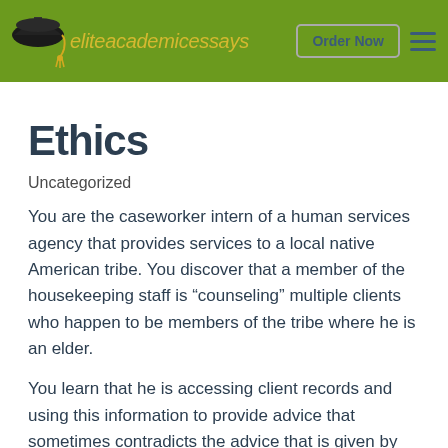eliteacademicessays | Order Now
Ethics
Uncategorized
You are the caseworkker intern of a human services agency that provides services to a local native American tribe. You discover that a member of the housekeeping staff is “counseling” multiple clients who happen to be members of the tribe where he is an elder.
You learn that he is accessing client records and using this information to provide advice that sometimes contradicts the advice that is given by the professionals at the agency. You also learn that he has been warned to discontinue this practice but has refused to comply. Additionally, the agency